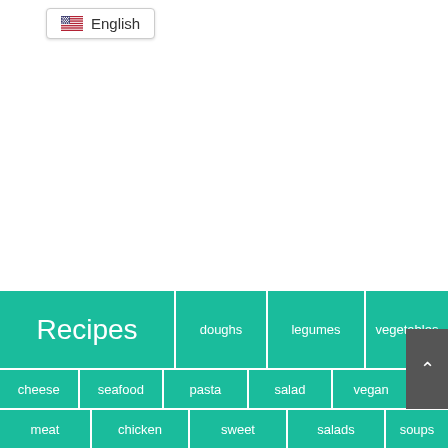🇺🇸 English
Recipes  doughs  legumes  vegetables  cheese  seafood  pasta  salad  vegan  meat  chicken  sweet  salads  soups